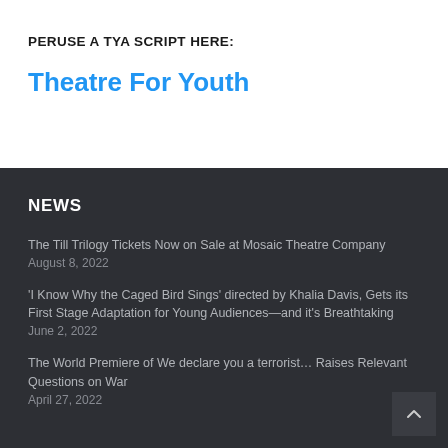PERUSE A TYA SCRIPT HERE:
Theatre For Youth
NEWS
The Till Trilogy Tickets Now on Sale at Mosaic Theatre Company
August 8, 2022
'I Know Why the Caged Bird Sings' directed by Khalia Davis, Gets its First Stage Adaptation for Young Audiences—and it's Breathtaking
June 2, 2022
The World Premiere of We declare you a terrorist… Raises Relevant Questions on War
April 27, 2022